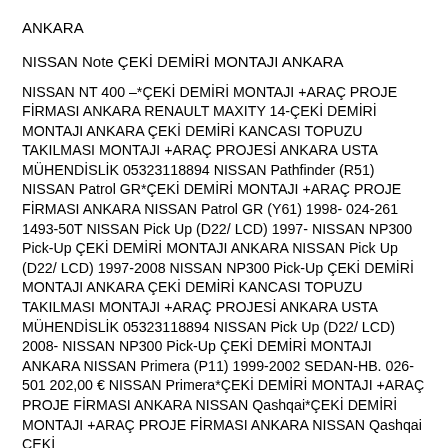ANKARA
NISSAN Note ÇEKİ DEMİRİ MONTAJI ANKARA
NISSAN NT 400 –*ÇEKİ DEMİRİ MONTAJI +ARAÇ PROJE FİRMASI ANKARA RENAULT MAXITY 14-ÇEKİ DEMİRİ MONTAJI ANKARA ÇEKİ DEMİRİ KANCASI TOPUZU TAKILMASI MONTAJI +ARAÇ PROJESİ ANKARA USTA MÜHENDİSLİK 05323118894 NISSAN Pathfinder (R51) NISSAN Patrol GR*ÇEKİ DEMİRİ MONTAJI +ARAÇ PROJE FİRMASI ANKARA NISSAN Patrol GR (Y61) 1998- 024-261 1493-50T NISSAN Pick Up (D22/ LCD) 1997- NISSAN NP300 Pick-Up ÇEKİ DEMİRİ MONTAJI ANKARA NISSAN Pick Up (D22/ LCD) 1997-2008 NISSAN NP300 Pick-Up ÇEKİ DEMİRİ MONTAJI ANKARA ÇEKİ DEMİRİ KANCASI TOPUZU TAKILMASI MONTAJI +ARAÇ PROJESİ ANKARA USTA MÜHENDİSLİK 05323118894 NISSAN Pick Up (D22/ LCD) 2008- NISSAN NP300 Pick-Up ÇEKİ DEMİRİ MONTAJI ANKARA NISSAN Primera (P11) 1999-2002 SEDAN-HB. 026-501 202,00 € NISSAN Primera*ÇEKİ DEMİRİ MONTAJI +ARAÇ PROJE FİRMASI ANKARA NISSAN Qashqai*ÇEKİ DEMİRİ MONTAJI +ARAÇ PROJE FİRMASI ANKARA NISSAN Qashqai ÇEKİ